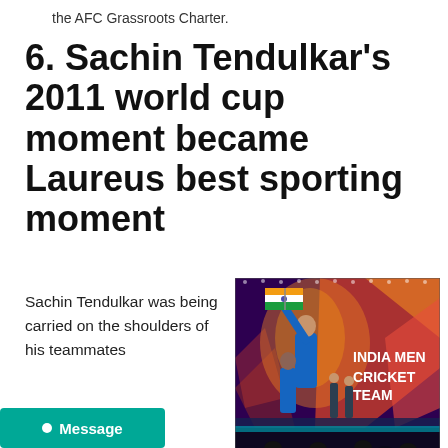the AFC Grassroots Charter.
6. Sachin Tendulkar's 2011 world cup moment became Laureus best sporting moment
Sachin Tendulkar was being carried on the shoulders of his teammates
[Figure (photo): Stage presentation showing Sachin Tendulkar carrying Indian flag on shoulders of teammates, with text 'INDIA MEN CRICKET TEAM' displayed on a large screen backdrop with red/orange graphic design elements, audience visible in foreground]